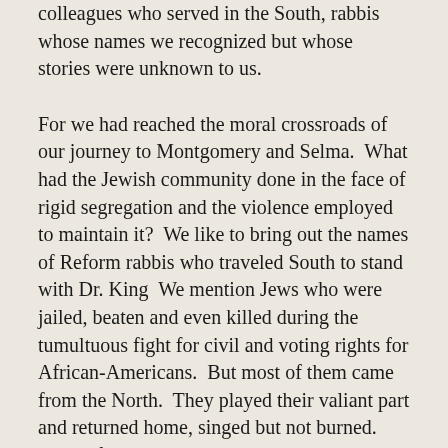colleagues who served in the South, rabbis whose names we recognized but whose stories were unknown to us.
For we had reached the moral crossroads of our journey to Montgomery and Selma.  What had the Jewish community done in the face of rigid segregation and the violence employed to maintain it?  We like to bring out the names of Reform rabbis who traveled South to stand with Dr. King  We mention Jews who were jailed, beaten and even killed during the tumultuous fight for civil and voting rights for African-Americans.  But most of them came from the North.  They played their valiant part and returned home, singed but not burned.  The Reform rabbis who lived in the communities of the South, who served Jews whose lives and livelihoods were at stake, had to balance a